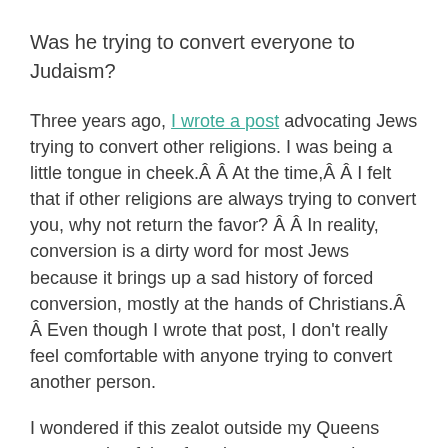Was he trying to convert everyone to Judaism?
Three years ago, I wrote a post advocating Jews trying to convert other religions. I was being a little tongue in cheek.Â Â  At the time,Â Â I felt that if other religions are always trying to convert you, why not return the favor? Â Â  In reality, conversion is a dirty word for most Jews because it brings up a sad history of forced conversion, mostly at the hands of Christians.Â Â  Even though I wrote that post, I don't really feel comfortable with anyone trying to convert another person.
I wondered if this zealot outside my Queens supermarket felt safe trying to convert others to JudaismÂ because we were in Queens, and there were many Jews in the neighborhood.Â Â  Maybe he felt safe in numbers, despite the fact that there was a mosque right across the street.